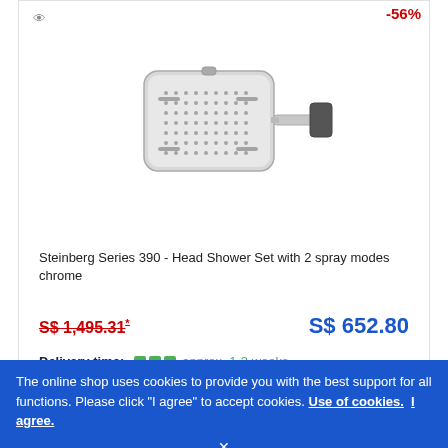[Figure (photo): Product photo of Steinberg Series 390 Head Shower Set with 2 spray modes in chrome finish, showing a rectangular rain shower head with wall-mounted arm bracket]
-56%
Steinberg Series 390 - Head Shower Set with 2 spray modes chrome
S$ 1,495.31*
S$ 652.80
Delivery time: approx. 1-2 weeks
The online shop uses cookies to provide you with the best support for all functions. Please click "I agree" to accept cookies. Use of cookies. I agree.